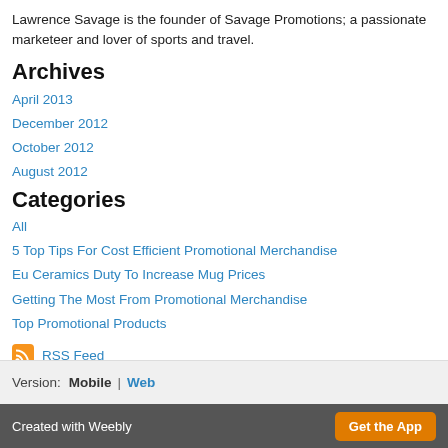Lawrence Savage is the founder of Savage Promotions; a passionate marketeer and lover of sports and travel.
Archives
April 2013
December 2012
October 2012
August 2012
Categories
All
5 Top Tips For Cost Efficient Promotional Merchandise
Eu Ceramics Duty To Increase Mug Prices
Getting The Most From Promotional Merchandise
Top Promotional Products
RSS Feed
Version: Mobile | Web
Created with Weebly  Get the App